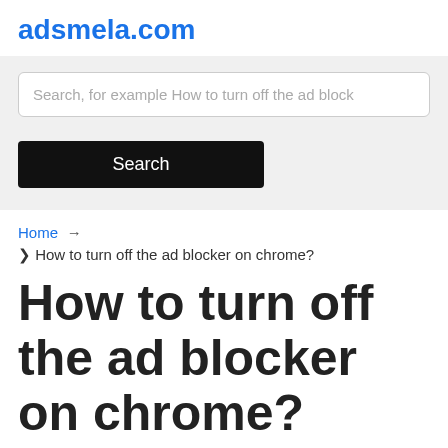adsmela.com
[Figure (screenshot): Search bar with placeholder text 'Search, for example How to turn off the ad block' and a black Search button]
Home → ❯ How to turn off the ad blocker on chrome?
How to turn off the ad blocker on chrome?